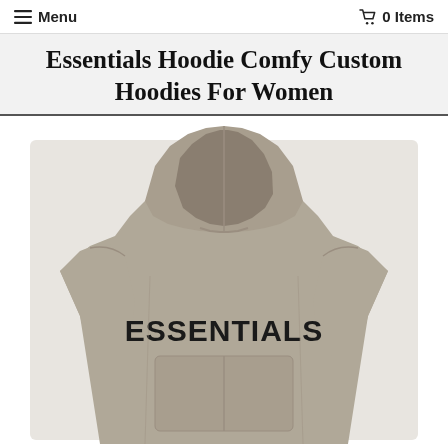☰ Menu  🛒 0 Items
Essentials Hoodie Comfy Custom Hoodies For Women
[Figure (photo): Product photo of a taupe/beige pullover hoodie with large black 'ESSENTIALS' text printed on the chest, featuring a large hood and kangaroo pocket, photographed against a white background.]